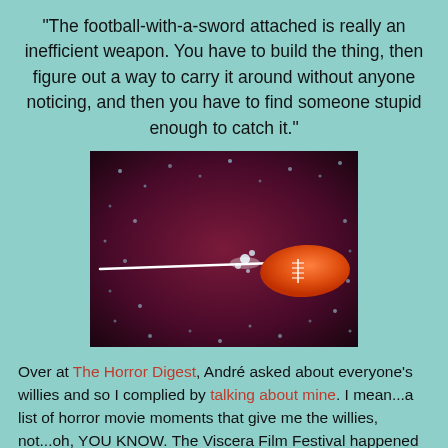"The football-with-a-sword attached is really an inefficient weapon. You have to build the thing, then figure out a way to carry it around without anyone noticing, and then you have to find someone stupid enough to catch it."
[Figure (photo): A film still showing an orange American football with what appears to be a sword or blade attached, flying through a dark, speckled background.]
Over at The Horror Digest, André asked about everyone's willies and so I complied by talking about mine. I mean...a list of horror movie moments that give me the willies, not...oh, YOU KNOW. The Viscera Film Festival happened here in Los Angeles, and that was cool. Heidi and I